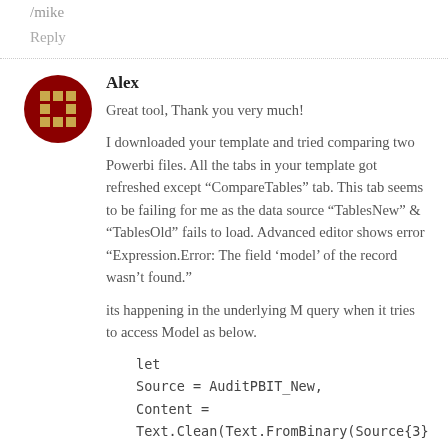/mike
Reply
Alex
Great tool, Thank you very much!
I downloaded your template and tried comparing two Powerbi files. All the tabs in your template got refreshed except “CompareTables” tab. This tab seems to be failing for me as the data source “TablesNew” & “TablesOld” fails to load. Advanced editor shows error “Expression.Error: The field ‘model’ of the record wasn’t found.”
its happening in the underlying M query when it tries to access Model as below.
let
Source = AuditPBIT_New,
Content = Text.Clean(Text.FromBinary(Source{3}[Content])),